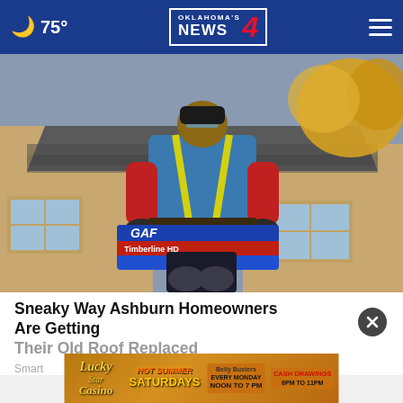🌙 75° | Oklahoma's News 4
[Figure (photo): A roofer wearing a blue shirt, red sleeves, yellow safety vest, and knee pads carrying a package of GAF Timberline HD shingles on a residential rooftop with autumn trees in background]
Sneaky Way Ashburn Homeowners Are Getting Their Old Roof Replaced
Smart
[Figure (infographic): Lucky Star Casino ad banner: Hot Summer Saturdays, Belly Busters Every Monday Noon to 7PM, Cash Drawings 6PM to 11PM]